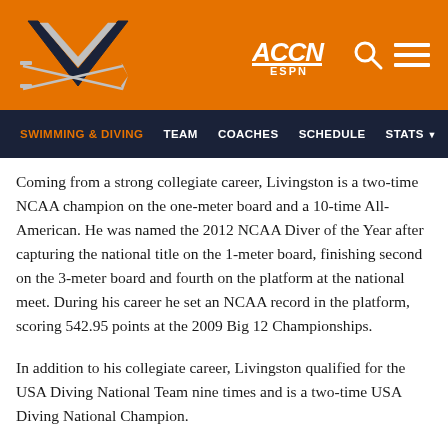[Figure (logo): University of Virginia Cavaliers logo with crossed sabers and V on orange background header, with ACCN ESPN logo, search icon, and hamburger menu]
SWIMMING & DIVING   TEAM   COACHES   SCHEDULE   STATS
Coming from a strong collegiate career, Livingston is a two-time NCAA champion on the one-meter board and a 10-time All-American. He was named the 2012 NCAA Diver of the Year after capturing the national title on the 1-meter board, finishing second on the 3-meter board and fourth on the platform at the national meet. During his career he set an NCAA record in the platform, scoring 542.95 points at the 2009 Big 12 Championships.
In addition to his collegiate career, Livingston qualified for the USA Diving National Team nine times and is a two-time USA Diving National Champion.
Livingston is currently working towards an MBA at LSU. He